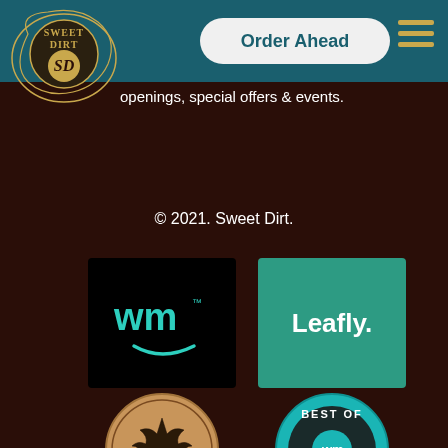[Figure (logo): Sweet Dirt logo - circular badge with SD initials and decorative swirl]
[Figure (screenshot): Navigation bar with Order Ahead button and hamburger menu on teal background]
openings, special offers & events.
© 2021. Sweet Dirt.
[Figure (logo): Weedmaps logo - wm text with smile icon on black background]
[Figure (logo): Leafly logo - white text on teal/green background]
[Figure (logo): Certified Clean Cannabis by MOFGA badge - circular bronze badge with cannabis leaf]
[Figure (logo): Best of Weedmaps 2020 badge - circular teal badge]